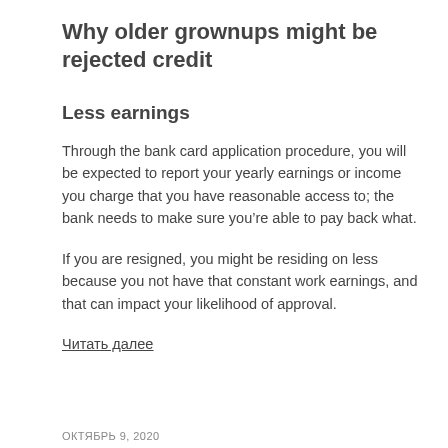Why older grownups might be rejected credit
Less earnings
Through the bank card application procedure, you will be expected to report your yearly earnings or income you charge that you have reasonable access to; the bank needs to make sure you’re able to pay back what.
If you are resigned, you might be residing on less because you not have that constant work earnings, and that can impact your likelihood of approval.
Читать далее
ОКТЯБРЬ 9, 2020